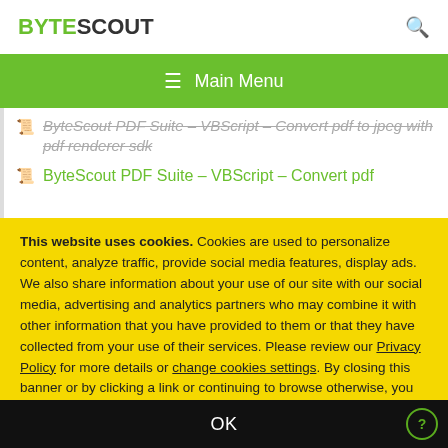BYTESCOUT
≡ Main Menu
ByteScout PDF Suite – VBScript – Convert pdf to jpeg with pdf renderer sdk
ByteScout PDF Suite – VBScript – Convert pdf
This website uses cookies. Cookies are used to personalize content, analyze traffic, provide social media features, display ads. We also share information about your use of our site with our social media, advertising and analytics partners who may combine it with other information that you have provided to them or that they have collected from your use of their services. Please review our Privacy Policy for more details or change cookies settings. By closing this banner or by clicking a link or continuing to browse otherwise, you consent to our cookies.
OK